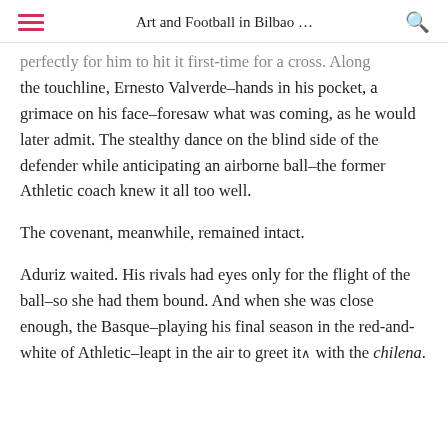Art and Football in Bilbao ...
perfectly for him to hit it first-time for a cross. Along the touchline, Ernesto Valverde–hands in his pocket, a grimace on his face–foresaw what was coming, as he would later admit. The stealthy dance on the blind side of the defender while anticipating an airborne ball–the former Athletic coach knew it all too well.
The covenant, meanwhile, remained intact.
Aduriz waited. His rivals had eyes only for the flight of the ball–so she had them bound. And when she was close enough, the Basque–playing his final season in the red-and-white of Athletic–leapt in the air to greet it with the chilena.